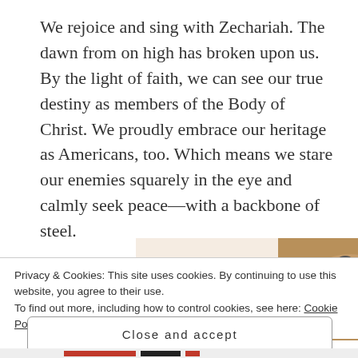We rejoice and sing with Zechariah. The dawn from on high has broken upon us. By the light of faith, we can see our true destiny as members of the Body of Christ. We proudly embrace our heritage as Americans, too. Which means we stare our enemies squarely in the eye and calmly seek peace—with a backbone of steel.
[Figure (other): Promotional widget with text 'Let's get started' on a beige background with a photo of hands holding a phone]
Privacy & Cookies: This site uses cookies. By continuing to use this website, you agree to their use.
To find out more, including how to control cookies, see here: Cookie Policy
Close and accept